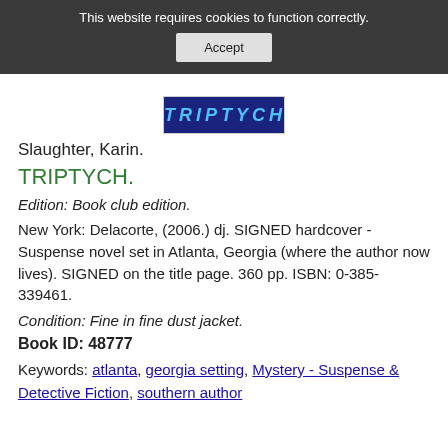This website requires cookies to function correctly.
Accept
[Figure (other): Book cover image showing title TRIPTYCH in blue text on dark background]
Slaughter, Karin.
TRIPTYCH.
Edition: Book club edition.
New York: Delacorte, (2006.) dj. SIGNED hardcover - Suspense novel set in Atlanta, Georgia (where the author now lives). SIGNED on the title page. 360 pp. ISBN: 0-385-339461.
Condition: Fine in fine dust jacket.
Book ID: 48777
Keywords: atlanta, georgia setting, Mystery - Suspense & Detective Fiction, southern author